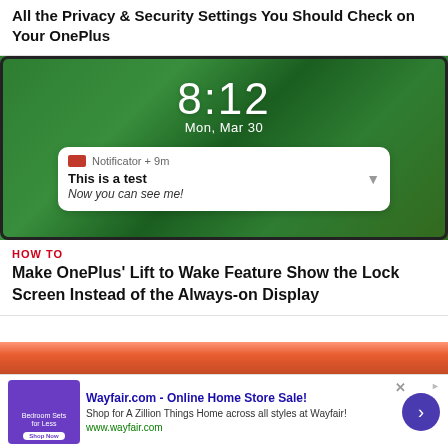All the Privacy & Security Settings You Should Check on Your OnePlus
[Figure (photo): OnePlus smartphone lock screen showing time 8:12, date Mon, Mar 30, and a notification from Notificator app reading 'This is a test / Now you can see me!']
HOW TO
Make OnePlus' Lift to Wake Feature Show the Lock Screen Instead of the Always-on Display
[Figure (photo): Partial view of another article's hero image (orange/red tones)]
[Figure (other): Wayfair.com advertisement: 'Wayfair.com - Online Home Store Sale! Shop for A Zillion Things Home across all styles at Wayfair! www.wayfair.com']